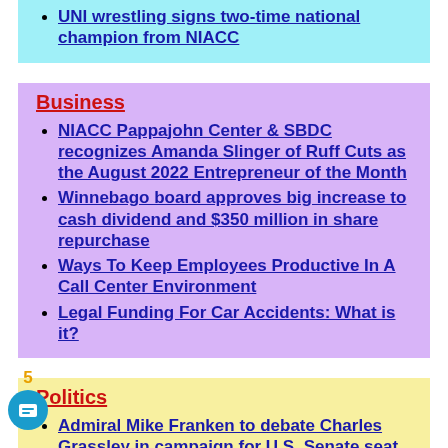UNI wrestling signs two-time national champion from NIACC
Business
NIACC Pappajohn Center & SBDC recognizes Amanda Slinger of Ruff Cuts as the August 2022 Entrepreneur of the Month
Winnebago board approves big increase to cash dividend and $350 million in share repurchase
Ways To Keep Employees Productive In A Call Center Environment
Legal Funding For Car Accidents: What is it?
Politics
Admiral Mike Franken to debate Charles Grassley in campaign for U.S. Senate seat
Ag Secretary Vilsack to travel to Iowa, highlight Biden-Harris Administration's efforts to help